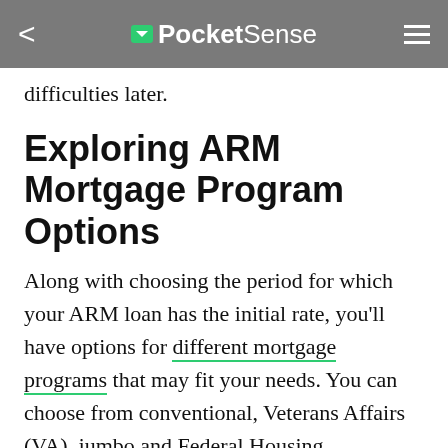PocketSense
difficulties later.
Exploring ARM Mortgage Program Options
Along with choosing the period for which your ARM loan has the initial rate, you'll have options for different mortgage programs that may fit your needs. You can choose from conventional, Veterans Affairs (VA), jumbo and Federal Housing Administration (FHA) mortgages and choose the ARM option while the U.S. Department of